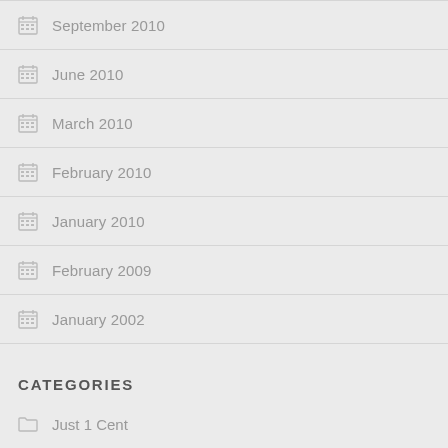September 2010
June 2010
March 2010
February 2010
January 2010
February 2009
January 2002
CATEGORIES
Just 1 Cent